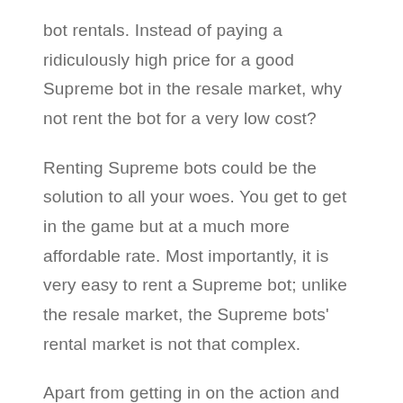bot rentals. Instead of paying a ridiculously high price for a good Supreme bot in the resale market, why not rent the bot for a very low cost?
Renting Supreme bots could be the solution to all your woes. You get to get in the game but at a much more affordable rate. Most importantly, it is very easy to rent a Supreme bot; unlike the resale market, the Supreme bots' rental market is not that complex.
Apart from getting in on the action and making high profits, renting is also a good option for beginners or for trying out a new bot because sneaker bots have a lot of variations, and no two bots are the same. So,